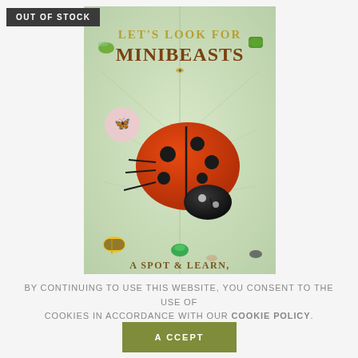OUT OF STOCK
[Figure (photo): Book cover of 'Let's Look for Minibeasts — A Spot & Learn' featuring a large red ladybug on a green leaf background, with various other insects depicted around the border. Title text in gold and brown at top.]
By continuing to use this website, you consent to the use of cookies in accordance with our Cookie Policy.
ACCEPT